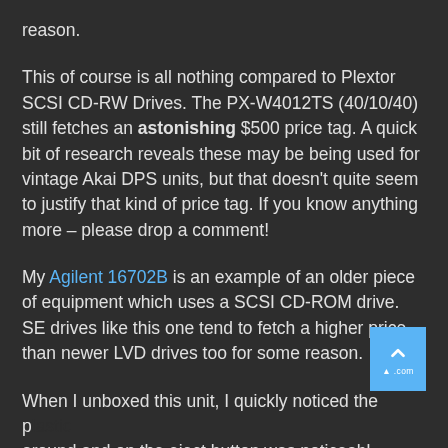reason.
This of course is all nothing compared to Plextor SCSI CD-RW Drives. The PX-W4012TS (40/10/40) still fetches an astonishing $500 price tag. A quick bit of research reveals these may be being used for vintage Akai DPS units, but that doesn't quite seem to justify that kind of price tag. If you know anything more – please drop a comment!
My Agilent 16702B is an example of an older piece of equipment which uses a SCSI CD-ROM drive. SE drives like this one tend to fetch a higher price than newer LVD drives too for some reason.
When I unboxed this unit, I quickly noticed the p[lastic] around and on the eject button was noticeabl[y worn.] This drive has clearly had a lot of use. I plugged it in, pressed eject and the tray came out with a